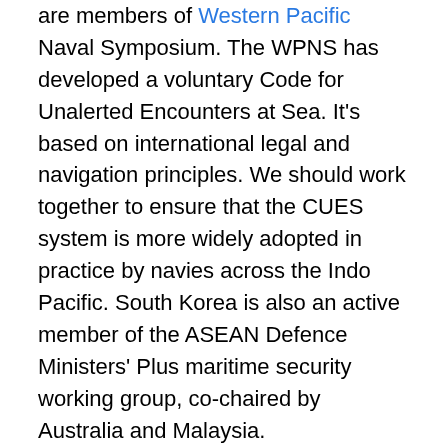are members of Western Pacific Naval Symposium. The WPNS has developed a voluntary Code for Unalerted Encounters at Sea. It's based on international legal and navigation principles. We should work together to ensure that the CUES system is more widely adopted in practice by navies across the Indo Pacific. South Korea is also an active member of the ASEAN Defence Ministers' Plus maritime security working group, co-chaired by Australia and Malaysia.
Australia and South Korea are both major regional submarine operating countries. The ROK builds submarines and has sold three boats to Indonesia. There would be some scope for working together on regional arrangements for the prevention of mutual interference between submarines, which could be an important regional maritime confidence building measure.